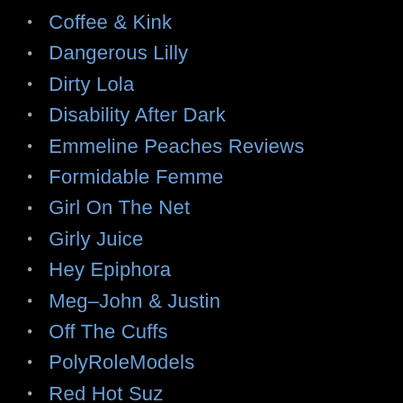Coffee & Kink
Dangerous Lilly
Dirty Lola
Disability After Dark
Emmeline Peaches Reviews
Formidable Femme
Girl On The Net
Girly Juice
Hey Epiphora
Meg–John & Justin
Off The Cuffs
PolyRoleModels
Red Hot Suz
The Dildorks